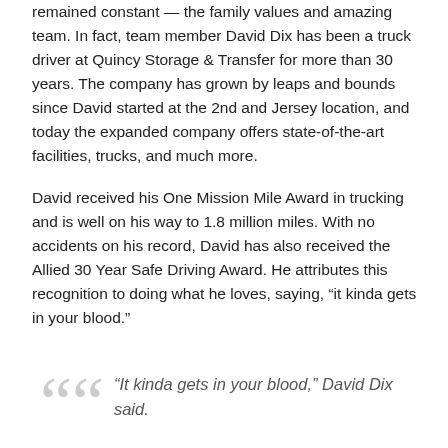remained constant — the family values and amazing team. In fact, team member David Dix has been a truck driver at Quincy Storage & Transfer for more than 30 years. The company has grown by leaps and bounds since David started at the 2nd and Jersey location, and today the expanded company offers state-of-the-art facilities, trucks, and much more.
David received his One Mission Mile Award in trucking and is well on his way to 1.8 million miles. With no accidents on his record, David has also received the Allied 30 Year Safe Driving Award. He attributes this recognition to doing what he loves, saying, “it kinda gets in your blood.”
“It kinda gets in your blood,” David Dix said.